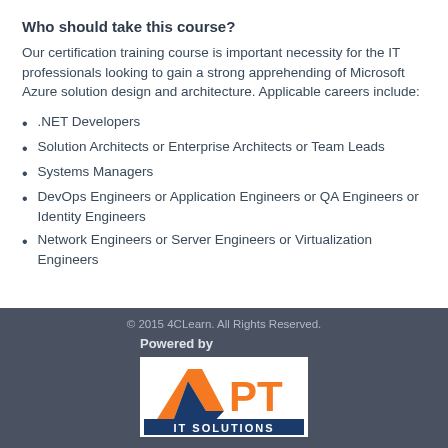Who should take this course?
Our certification training course is important necessity for the IT professionals looking to gain a strong apprehending of Microsoft Azure solution design and architecture. Applicable careers include:
.NET Developers
Solution Architects or Enterprise Architects or Team Leads
Systems Managers
DevOps Engineers or Application Engineers or QA Engineers or Identity Engineers
Network Engineers or Server Engineers or Virtualization Engineers
© 2015 4CLearn. All Rights Reserved. Powered by APT IT SOLUTIONS